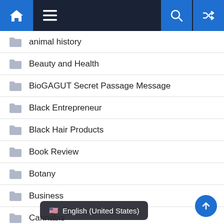Navigation bar with home, menu, search, and random icons
animal history
Beauty and Health
BioGAGUT Secret Passage Message
Black Entrepreneur
Black Hair Products
Book Review
Botany
Business
Cannabis
Cartoon Village
C…
🇺🇸 English (United States)